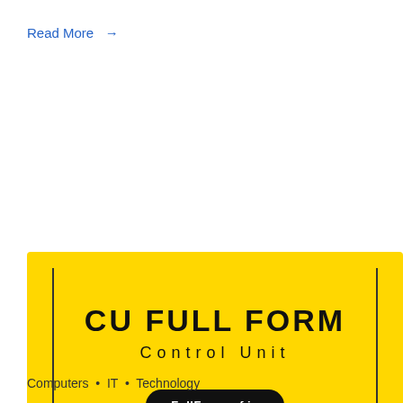Read More →
[Figure (illustration): Yellow banner image with text 'CU FULL FORM' in bold black uppercase letters, subtitle 'Control Unit' in spaced letters, and a black rounded badge reading 'FullFormsof.in'. Black vertical lines on left and right sides.]
Computers • IT • Technology